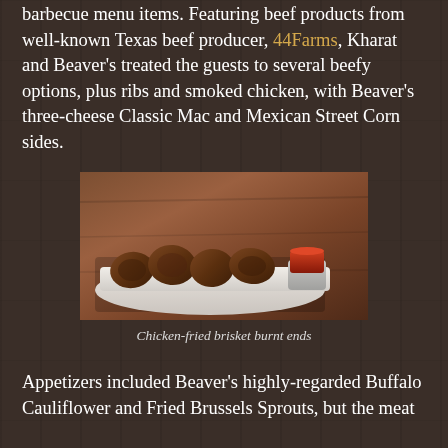barbecue menu items. Featuring beef products from well-known Texas beef producer, 44Farms, Kharat and Beaver's treated the guests to several beefy options, plus ribs and smoked chicken, with Beaver's three-cheese Classic Mac and Mexican Street Corn sides.
[Figure (photo): Photo of chicken-fried brisket burnt ends on a white rectangular plate with a small metal cup of dipping sauce, served on a wooden board]
Chicken-fried brisket burnt ends
Appetizers included Beaver's highly-regarded Buffalo Cauliflower and Fried Brussels Sprouts, but the meat treat for the day was a premium slice of chicken-fried brisket